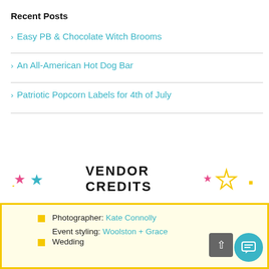Recent Posts
> Easy PB & Chocolate Witch Brooms
> An All-American Hot Dog Bar
> Patriotic Popcorn Labels for 4th of July
VENDOR CREDITS
Photographer: Kate Connolly
Event styling: Woolston + Grace Wedding